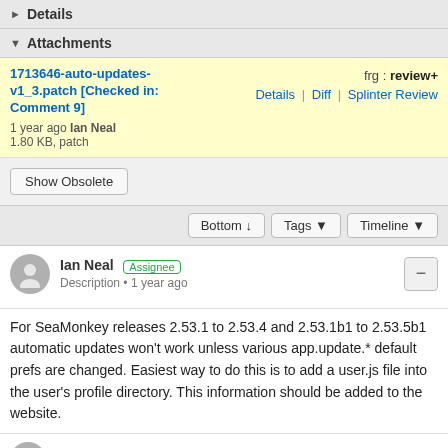Details
Attachments
1713646-auto-updates-v1_3.patch [Checked in: Comment 9]   frg : review+   Details | Diff | Splinter Review   1 year ago Ian Neal   1.80 KB, patch
Show Obsolete
Bottom ↓   Tags ▼   Timeline ▼
Ian Neal  Assignee
Description • 1 year ago
For SeaMonkey releases 2.53.1 to 2.53.4 and 2.53.1b1 to 2.53.5b1 automatic updates won't work unless various app.update.* default prefs are changed. Easiest way to do this is to add a user.js file into the user's profile directory. This information should be added to the website.
Ian Neal  Assignee